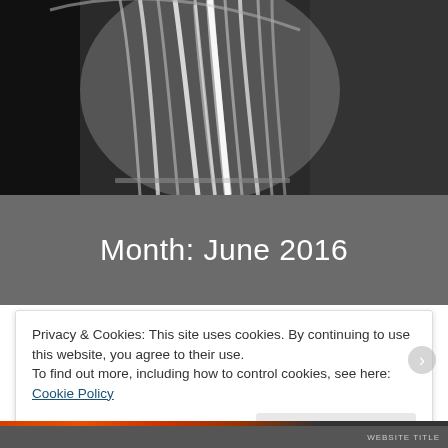[Figure (photo): Black and white photograph of a white pleated satin fabric or dress against a dark background]
Month: June 2016
Privacy & Cookies: This site uses cookies. By continuing to use this website, you agree to their use.
To find out more, including how to control cookies, see here: Cookie Policy
Close and accept